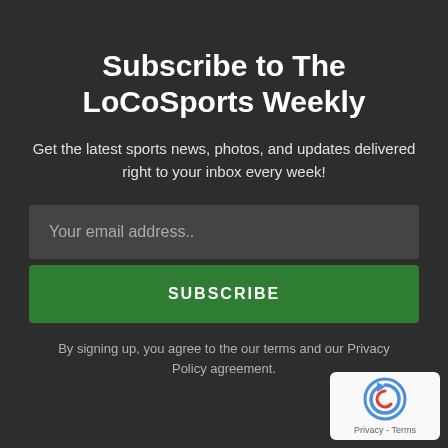Subscribe to The LoCoSports Weekly
Get the latest sports news, photos, and updates delivered right to your inbox every week!
Your email address..
SUBSCRIBE
By signing up, you agree to the our terms and our Privacy Policy agreement.
[Figure (logo): reCAPTCHA badge with circular arrow logo and Privacy - Terms text]